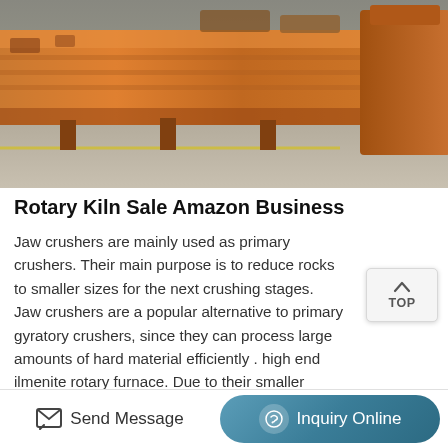[Figure (photo): Photo of industrial orange/rust-colored heavy machinery (rotary kiln or crusher equipment) on a concrete surface]
Rotary Kiln Sale Amazon Business
Jaw crushers are mainly used as primary crushers. Their main purpose is to reduce rocks to smaller sizes for the next crushing stages. Jaw crushers are a popular alternative to primary gyratory crushers, since they can process large amounts of hard material efficiently . high end ilmenite rotary furnace. Due to their smaller physical size, jaw crushers are also ideal for tight spaces, such as underground mining and mobile . new gangue rotary kiln how to buy at the cheapest price…. pottery feldspar.. basalt rotary kiln price